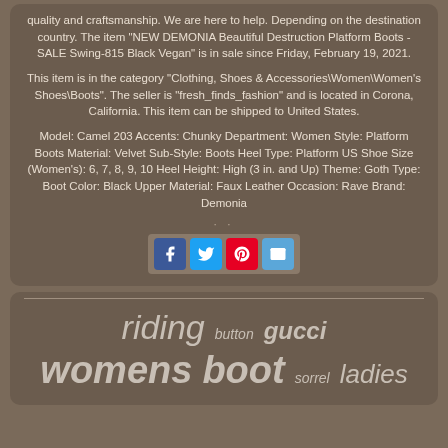quality and craftsmanship. We are here to help. Depending on the destination country. The item "NEW DEMONIA Beautiful Destruction Platform Boots -SALE Swing-815 Black Vegan" is in sale since Friday, February 19, 2021.
This item is in the category "Clothing, Shoes & Accessories\Women\Women's Shoes\Boots". The seller is "fresh_finds_fashion" and is located in Corona, California. This item can be shipped to United States.
Model: Camel 203 Accents: Chunky Department: Women Style: Platform Boots Material: Velvet Sub-Style: Boots Heel Type: Platform US Shoe Size (Women's): 6, 7, 8, 9, 10 Heel Height: High (3 in. and Up) Theme: Goth Type: Boot Color: Black Upper Material: Faux Leather Occasion: Rave Brand: Demonia
[Figure (other): Social share buttons: Facebook, Twitter, Pinterest, Email]
[Figure (infographic): Tag cloud with words: riding, button, gucci, womens, boot, sorrel, ladies]